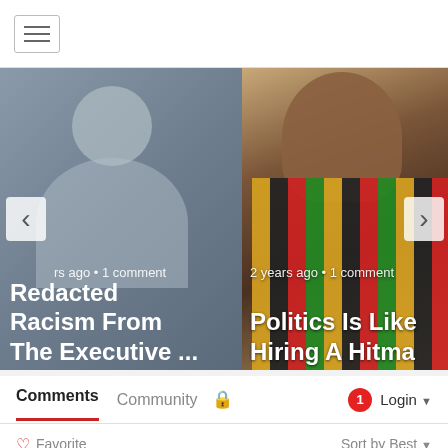[Figure (screenshot): Navigation bar with hamburger menu icon]
[Figure (screenshot): Article carousel showing two cards: 'Redacted Racism From The Executive ...' and 'Politics Is Like Hiring A Hitma'. Left card has a silhouette placeholder image with left/right navigation arrows. Right card shows a photo of a man with a colorful scarf. Both show '2 years ago • 1 comment' metadata.]
rs ago • 1 comment
Redacted Racism From The Executive ...
2 years ago • 1 comment
Politics Is Like Hiring A Hitma
Comments  Community  🔒  Login
♡ Favorite   Sort by Best
Start the discussion...
LOG IN WITH